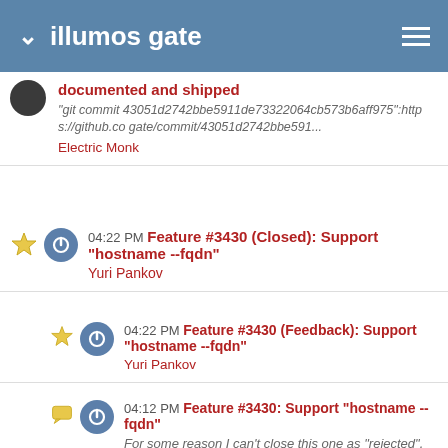illumos gate
documented and shipped
"git commit 43051d2742bbe5911de73322064cb573b6aff975":https://github.co gate/commit/43051d2742bbe591...
Electric Monk
04:22 PM Feature #3430 (Closed): Support "hostname --fqdn"
Yuri Pankov
04:22 PM Feature #3430 (Feedback): Support "hostname --fqdn"
Yuri Pankov
04:12 PM Feature #3430: Support "hostname --fqdn"
For some reason I can't close this one as "rejected".
Andrew Stormont